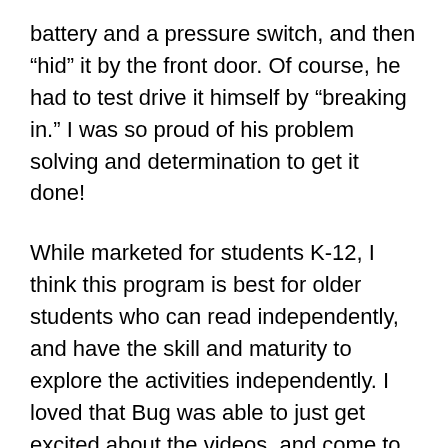battery and a pressure switch, and then “hid” it by the front door. Of course, he had to test drive it himself by “breaking in.” I was so proud of his problem solving and determination to get it done!
While marketed for students K-12, I think this program is best for older students who can read independently, and have the skill and maturity to explore the activities independently. I loved that Bug was able to just get excited about the videos, and come to me and say “I want to try it!” The textbook reading is really well done, but I do think the standard reading is directed mostly to 5-8th graders. I did need to sit next to Bug to make sure he was understanding what he was